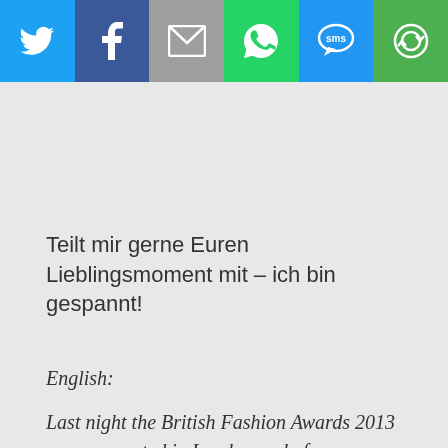[Figure (infographic): Social media share bar with six buttons: Twitter (blue bird icon), Facebook (blue f icon), Email (grey envelope icon), WhatsApp (green phone icon), SMS (blue speech bubble icon), and a green circular arrow/share icon]
Teilt mir gerne Euren Lieblingsmoment mit – ich bin gespannt!
English:
Last night the British Fashion Awards 2013 were presented in London and of course there were a lot of happy winners and beautiful faces on the red carpet. Kate Moss received